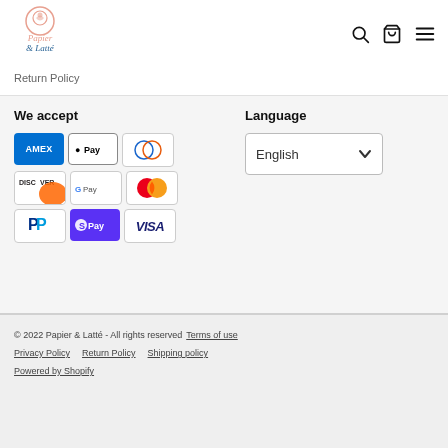[Figure (logo): Papier & Latté logo with stylized latte art inside a circle and brand name in cursive pink/salmon text]
Return Policy
We accept
Language
[Figure (infographic): Payment method icons: American Express, Apple Pay, Diners Club, Discover, Google Pay, Mastercard, PayPal, Shop Pay, Visa]
[Figure (infographic): Language selector dropdown showing 'English' with chevron down arrow]
© 2022 Papier & Latté - All rights reserved  Terms of use  Privacy Policy  Return Policy  Shipping policy  Powered by Shopify